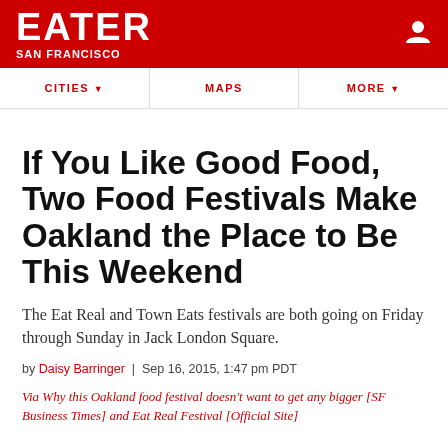EATER SAN FRANCISCO
CITIES  MAPS  MORE
If You Like Good Food, Two Food Festivals Make Oakland the Place to Be This Weekend
The Eat Real and Town Eats festivals are both going on Friday through Sunday in Jack London Square.
by Daisy Barringer | Sep 16, 2015, 1:47 pm PDT
Via Why this Oakland food festival doesn't want to get any bigger [SF Business Times] and Eat Real Festival [Official Site]